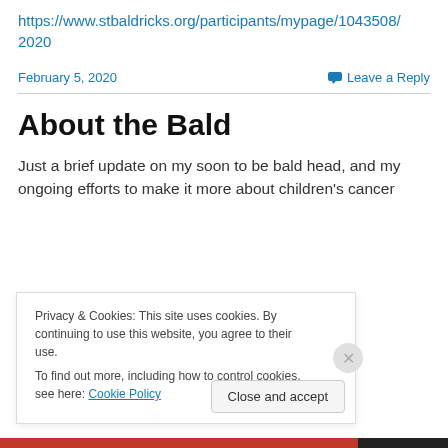https://www.stbaldricks.org/participants/mypage/1043508/2020
February 5, 2020   Leave a Reply
About the Bald
Just a brief update on my soon to be bald head, and my ongoing efforts to make it more about children's cancer
Privacy & Cookies: This site uses cookies. By continuing to use this website, you agree to their use.
To find out more, including how to control cookies, see here: Cookie Policy